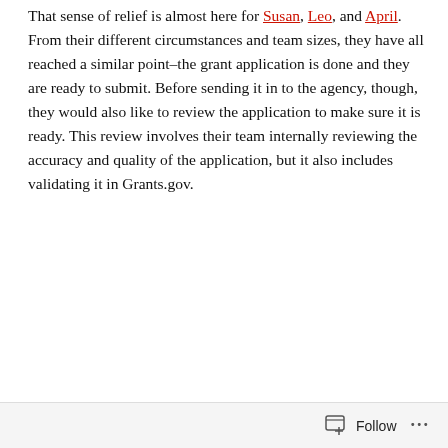That sense of relief is almost here for Susan, Leo, and April. From their different circumstances and team sizes, they have all reached a similar point–the grant application is done and they are ready to submit. Before sending it in to the agency, though, they would also like to review the application to make sure it is ready. This review involves their team internally reviewing the accuracy and quality of the application, but it also includes validating it in Grants.gov.
[Figure (illustration): Illustrated avatars of three people: a man with dark hair wearing a striped shirt on the left, a woman with dark hair in an updo wearing a colorful top in the center, and a woman with a ponytail tied with a red band wearing a floral top on the right.]
Follow ···